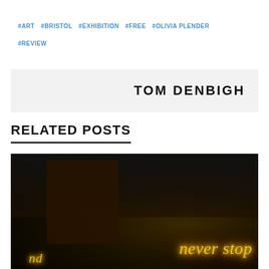#ART  #BRISTOL  #EXHIBITION  #FREE  #OLIVIA PLENDER  #REVIEW
TOM DENBIGH
RELATED POSTS
[Figure (photo): Dark photograph with neon light writing reading 'never stop' visible in golden/yellow glowing cursive text against a black background]